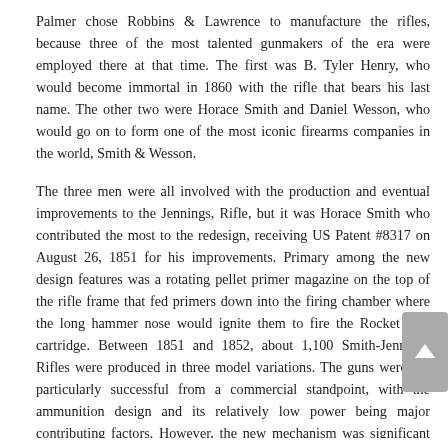Palmer chose Robbins & Lawrence to manufacture the rifles, because three of the most talented gunmakers of the era were employed there at that time. The first was B. Tyler Henry, who would become immortal in 1860 with the rifle that bears his last name. The other two were Horace Smith and Daniel Wesson, who would go on to form one of the most iconic firearms companies in the world, Smith & Wesson.
The three men were all involved with the production and eventual improvements to the Jennings, Rifle, but it was Horace Smith who contributed the most to the redesign, receiving US Patent #8317 on August 26, 1851 for his improvements. Primary among the new design features was a rotating pellet primer magazine on the top of the rifle frame that fed primers down into the firing chamber where the long hammer nose would ignite them to fire the Rocket Ball cartridge. Between 1851 and 1852, about 1,100 Smith-Jennings Rifles were produced in three model variations. The guns were not particularly successful from a commercial standpoint, with the ammunition design and its relatively low power being major contributing factors. However, the new mechanism was significant improvement upon the earlier Hunt and Jennings designs. At this point another step had been made towards the evolution of Winchester.